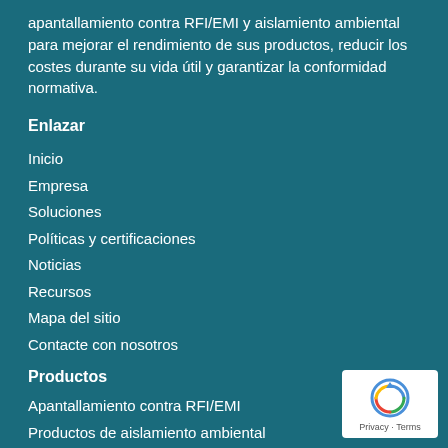apantallamiento contra RFI/EMI y aislamiento ambiental para mejorar el rendimiento de sus productos, reducir los costes durante su vida útil y garantizar la conformidad normativa.
Enlazar
Inicio
Empresa
Soluciones
Políticas y certificaciones
Noticias
Recursos
Mapa del sitio
Contacte con nosotros
Productos
Apantallamiento contra RFI/EMI
Productos de aislamiento ambiental
Fabricación
[Figure (logo): Privacy - Terms badge with reCAPTCHA logo]